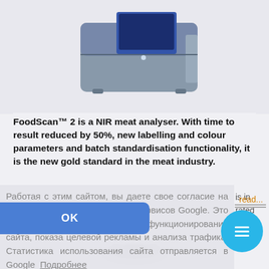[Figure (photo): FoodScan 2 NIR meat analyser device, gray colored laboratory instrument, partial top view]
FoodScan™ 2 is a NIR meat analyser. With time to result reduced by 50%, new labelling and colour parameters and batch standardisation functionality, it is the new gold standard in the meat industry.
Работая с этим сайтом, вы даете свое согласие на использование файлов cookie сервисов Google. Это необходимо для нормального функционирования сайта, показа целевой рекламы и анализа трафика. Статистика использования сайта отправляется в Google Подробнее
OK
[Figure (photo): Partial bottom product image, small device or component visible at bottom of page]